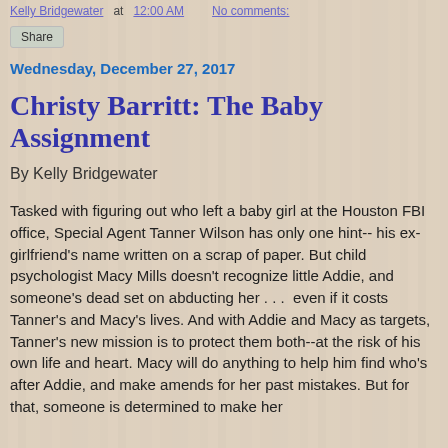Kelly Bridgewater at 12:00 AM   No comments:
Share
Wednesday, December 27, 2017
Christy Barritt: The Baby Assignment
By Kelly Bridgewater
Tasked with figuring out who left a baby girl at the Houston FBI office, Special Agent Tanner Wilson has only one hint-- his ex-girlfriend's name written on a scrap of paper. But child psychologist Macy Mills doesn't recognize little Addie, and someone's dead set on abducting her . . .  even if it costs Tanner's and Macy's lives. And with Addie and Macy as targets, Tanner's new mission is to protect them both--at the risk of his own life and heart. Macy will do anything to help him find who's after Addie, and make amends for her past mistakes. But for that, someone is determined to make her